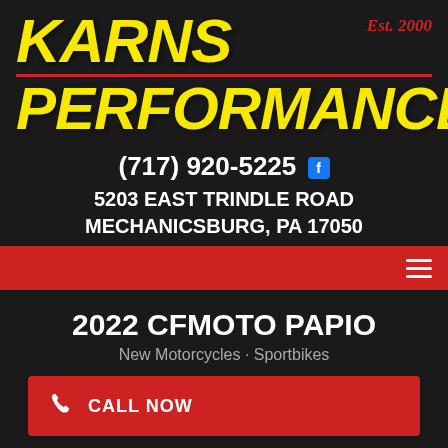[Figure (logo): Karns Performance logo with yellow italic text on dark background, Est. 2000 in red cursive, red horizontal line separator]
(717) 920-5225
5203 EAST TRINDLE ROAD
MECHANICSBURG, PA 17050
2022 CFMOTO PAPIO
New Motorcycles · Sportbikes
CALL NOW
Price $2,999